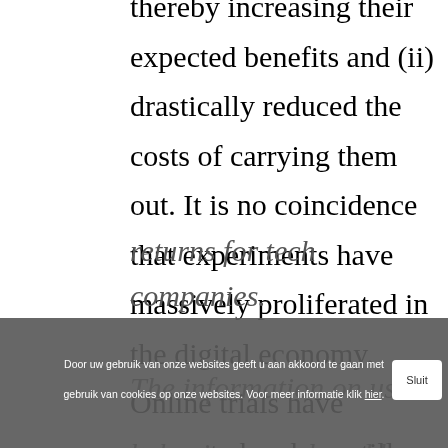thereby increasing their expected benefits and (ii) drastically reduced the costs of carrying them out. It is no coincidence that experiments have massively proliferated in the digital economy. Online trials have generated and are still generating large returns for tech companies. The information on user behaviour produced by
Door uw gebruik van onze websites geeft u aan akkoord te gaan met gebruik van cookies op onze websites. Voor meer informatie klik hier. Sluit